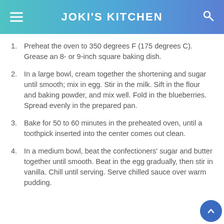JOKI'S KITCHEN
Preheat the oven to 350 degrees F (175 degrees C). Grease an 8- or 9-inch square baking dish.
In a large bowl, cream together the shortening and sugar until smooth; mix in egg. Stir in the milk. Sift in the flour and baking powder, and mix well. Fold in the blueberries. Spread evenly in the prepared pan.
Bake for 50 to 60 minutes in the preheated oven, until a toothpick inserted into the center comes out clean.
In a medium bowl, beat the confectioners' sugar and butter together until smooth. Beat in the egg gradually, then stir in vanilla. Chill until serving. Serve chilled sauce over warm pudding.